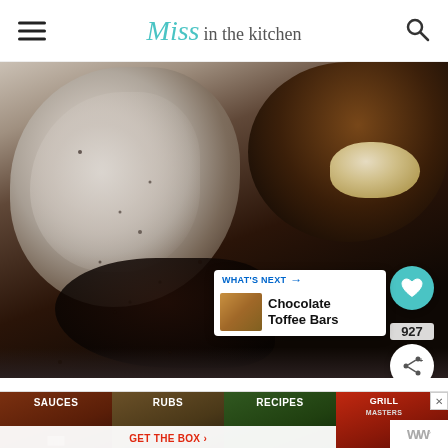Miss in the kitchen
[Figure (photo): Overhead view of a mixing bowl containing flour, dark liquid (likely molasses or chocolate), and a dollop of butter or cream cheese, ingredients being combined for a baking recipe]
927
[Figure (other): What's Next card showing Chocolate Toffee Bars with thumbnail image]
[Figure (infographic): Advertisement banner for Grill Masters Club showing sections: SAUCES, RUBS, RECIPES, GRILL MASTERS with GET THE BOX call to action and WW logo]